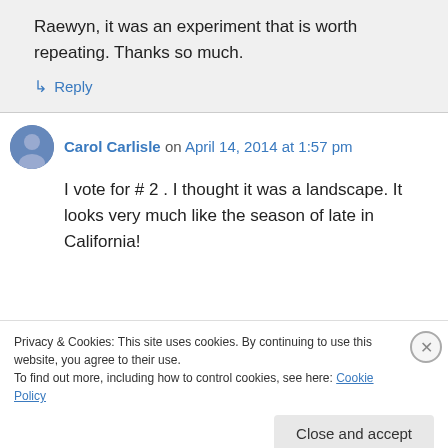Raewyn, it was an experiment that is worth repeating. Thanks so much.
↳ Reply
Carol Carlisle on April 14, 2014 at 1:57 pm
I vote for # 2 . I thought it was a landscape. It looks very much like the season of late in California!
Privacy & Cookies: This site uses cookies. By continuing to use this website, you agree to their use. To find out more, including how to control cookies, see here: Cookie Policy